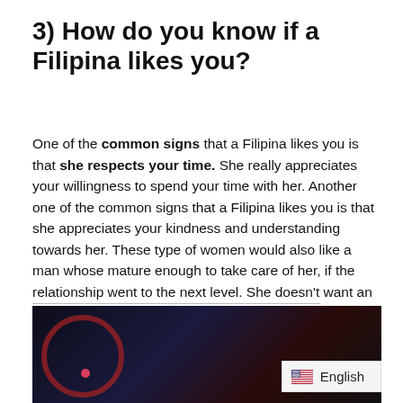3) How do you know if a Filipina likes you?
One of the common signs that a Filipina likes you is that she respects your time. She really appreciates your willingness to spend your time with her. Another one of the common signs that a Filipina likes you is that she appreciates your kindness and understanding towards her. These type of women would also like a man whose mature enough to take care of her, if the relationship went to the next level. She doesn't want an irresponsible little boy! But it all starts with the seriousness of dating. You must first become 'good friends' before you become lovers.
[Figure (photo): Dark background photo, partially visible, showing a circular red object or light on a dark blue/black background]